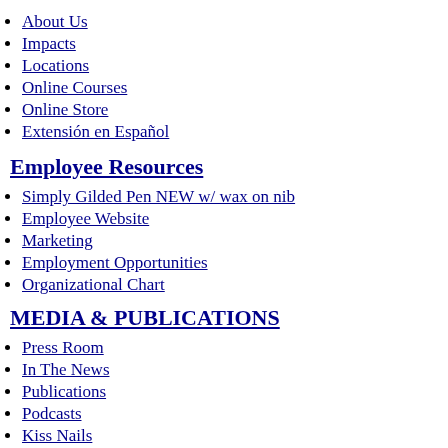About Us
Impacts
Locations
Online Courses
Online Store
Extensión en Español
Employee Resources
Simply Gilded Pen NEW w/ wax on nib
Employee Website
Marketing
Employment Opportunities
Organizational Chart
MEDIA & PUBLICATIONS
Press Room
In The News
Publications
Podcasts
Kiss Nails